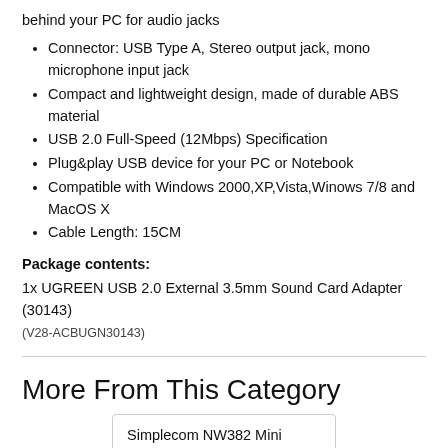behind your PC for audio jacks
Connector: USB Type A, Stereo output jack, mono microphone input jack
Compact and lightweight design, made of durable ABS material
USB 2.0 Full-Speed (12Mbps) Specification
Plug&play USB device for your PC or Notebook
Compatible with Windows 2000,XP,Vista,Winows 7/8 and MacOS X
Cable Length: 15CM
Package contents:
1x UGREEN USB 2.0 External 3.5mm Sound Card Adapter (30143)
(V28-ACBUGN30143)
More From This Category
Simplecom NW382 Mini Wireless N USB WiFi Adapter 6...